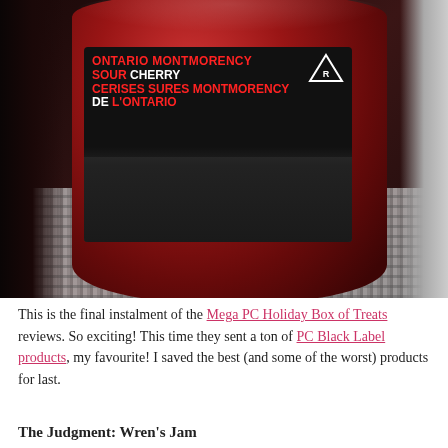[Figure (photo): A jar of PC Black Label Ontario Montmorency Sour Cherry fruit spread (370mL) sitting on a woven mat, photographed from above at an angle. The jar has a dark label with red and white text reading 'Ontario Montmorency Sour Cherry / Cerises Sures Montmorency de L'Ontario / Fruit Spread · Tartinade aux Fruits / 370mL'.]
This is the final instalment of the Mega PC Holiday Box of Treats reviews. So exciting! This time they sent a ton of PC Black Label products, my favourite! I saved the best (and some of the worst) products for last.
The Judgment: Wren's Jam